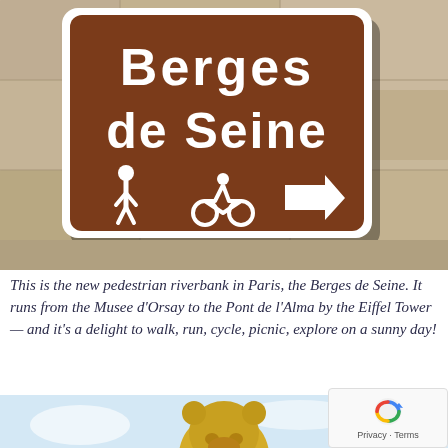[Figure (photo): Photo of a brown French tourist signpost mounted on a stone wall, reading 'Berges de Seine' with icons for pedestrian, cyclist, and an arrow pointing right.]
This is the new pedestrian riverbank in Paris, the Berges de Seine. It runs from the Musee d'Orsay to the Pont de l'Alma by the Eiffel Tower — and it's a delight to walk, run, cycle, picnic, explore on a sunny day!
[Figure (photo): Partial photo showing a golden sculpture (hippo or bear figure) against a light blue sky, located at the Berges de Seine.]